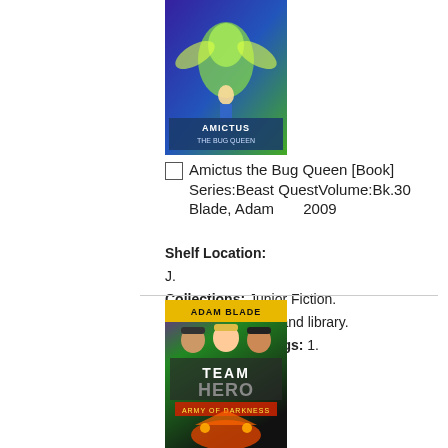[Figure (illustration): Book cover of Amictus the Bug Queen, Beast Quest series, showing a fantasy creature on a purple/green background]
Amictus the Bug Queen [Book]
Series:Beast QuestVolume:Bk.30
Blade, Adam        2009
Shelf Location:
J.
Collections: Junior Fiction.
Available at: Maitland library.
Number of Holdings: 1.
[Figure (illustration): Book cover of Team Hero: Army of Darkness by Adam Blade, showing three characters and a dragon on a green/purple background]